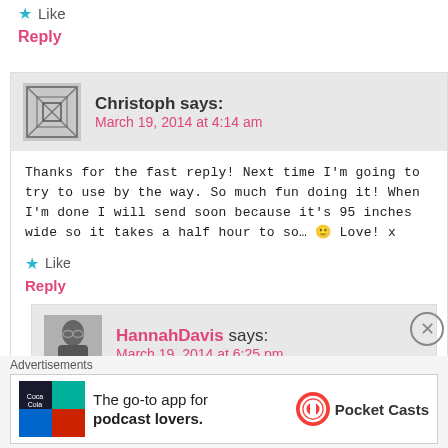Like
Reply
Christoph says: March 19, 2014 at 4:14 am
Thanks for the fast reply! Next time I'm going to try to use by the way. So much fun doing it! When I'm done I will send soon because it's 95 inches wide so it takes a half hour to so… 🙂 Love! x
Like
Reply
HannahDavis says: March 19, 2014 at 6:25 pm
Advertisements
The go-to app for podcast lovers. Pocket Casts